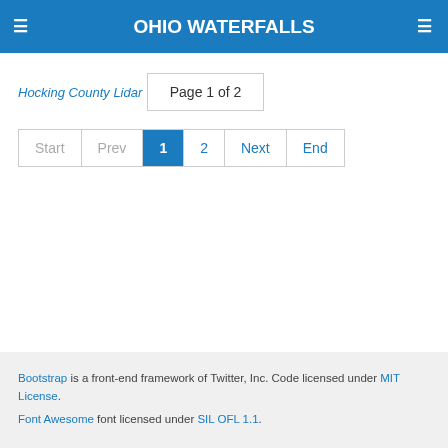OHIO WATERFALLS
Hocking County Lidar
Page 1 of 2
Start  Prev  1  2  Next  End
Bootstrap is a front-end framework of Twitter, Inc. Code licensed under MIT License. Font Awesome font licensed under SIL OFL 1.1.